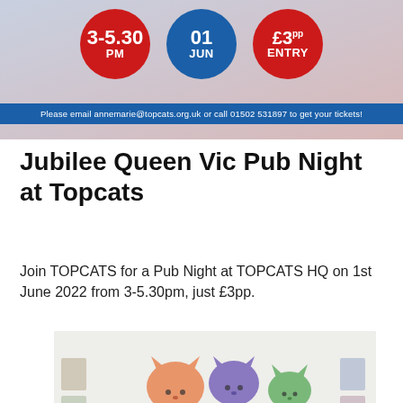[Figure (infographic): Event flyer top section showing three circles: red circle with '3-5.30 PM', blue circle with '01 JUN', red circle with '£3pp ENTRY'. Below is a blue banner with contact info.]
Jubilee Queen Vic Pub Night at Topcats
Join TOPCATS for a Pub Night at TOPCATS HQ on 1st June 2022 from 3-5.30pm, just £3pp.
[Figure (photo): Photo of a TOPCATS sign/banner with colorful cat illustrations (orange, purple, green cats) above the word TOPCATS on a purple background.]